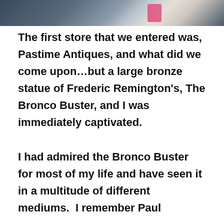[Figure (photo): Partial photo at top of page showing a person in dark clothing with a pink object visible, cropped at bottom edge of photo.]
The first store that we entered was, Pastime Antiques, and what did we come upon…but a large bronze statue of Frederic Remington's, The Bronco Buster, and I was immediately captivated.

I had admired the Bronco Buster for most of my life and have seen it in a multitude of different mediums.  I remember Paul